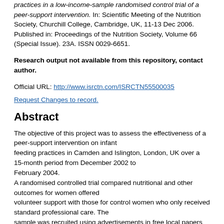practices in a low-income-sample randomised control trial of a peer-support intervention. In: Scientific Meeting of the Nutrition Society, Churchill College, Cambridge, UK, 11-13 Dec 2006. Published in: Proceedings of the Nutrition Society, Volume 66 (Special Issue). 23A. ISSN 0029-6651.
Research output not available from this repository, contact author.
Official URL: http://www.isrctn.com/ISRCTN55500035
Request Changes to record.
Abstract
The objective of this project was to assess the effectiveness of a peer-support intervention on infant feeding practices in Camden and Islington, London, UK over a 15-month period from December 2002 to February 2004.
A randomised controlled trial compared nutritional and other outcomes for women offered volunteer support with those for control women who only received standard professional care. The sample was recruited using advertisements in free local papers and council run hostels, but mainly at baby clinics. The 312 women were allocated at random to the intervention